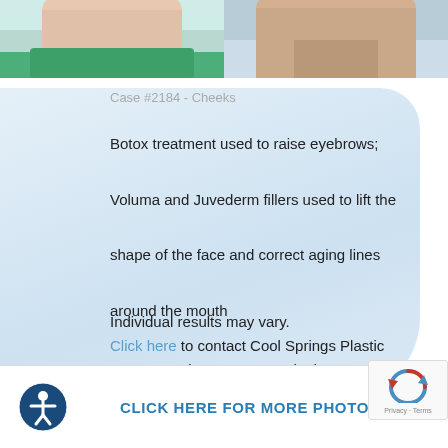[Figure (photo): Before and after photos of a patient showing cheek/face treatment results. Left photo shows green clothing, right shows bare skin/neck area.]
Case #2184 - Cheeks
Botox treatment used to raise eyebrows; Voluma and Juvederm fillers used to lift the shape of the face and correct aging lines around the mouth
Individual results may vary. Click here to contact Cool Springs Plastic Surgery and set up a consultation.
CLICK HERE FOR MORE PHOTOS